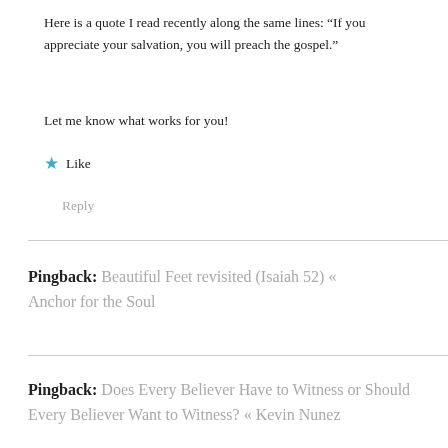Here is a quote I read recently along the same lines: “If you appreciate your salvation, you will preach the gospel.”
Let me know what works for you!
★ Like
Reply
Pingback: Beautiful Feet revisited (Isaiah 52) « Anchor for the Soul
Pingback: Does Every Believer Have to Witness or Should Every Believer Want to Witness? « Kevin Nunez